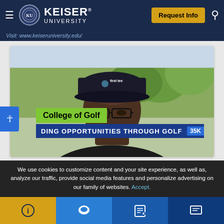Keiser University — navigation header with Request Info button
Visit: www.keiseruniversity.edu/
[Figure (photo): Video thumbnail showing a man wearing a 'first tee' cap and glasses being interviewed outdoors near a golf course, with a green 'College of Golf' label overlay and a blue lower-third banner reading 'DING OPPORTUNITIES THROUGH GOLF' with a badge showing '35k']
We use cookies to customize content and your site experience, as well as, analyze our traffic, provide social media features and personalize advertising on our family of websites. Accept.
Bottom navigation bar with info, chat, edit, and message icons